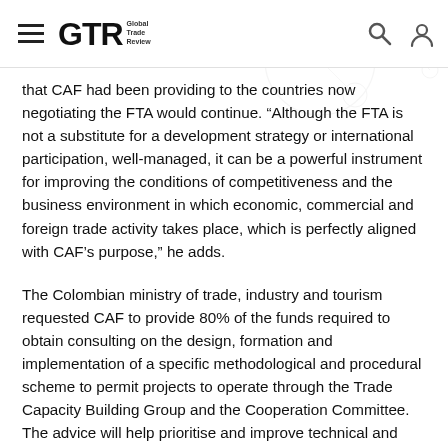GTR Global Trade Review
that CAF had been providing to the countries now negotiating the FTA would continue. “Although the FTA is not a substitute for a development strategy or international participation, well-managed, it can be a powerful instrument for improving the conditions of competitiveness and the business environment in which economic, commercial and foreign trade activity takes place, which is perfectly aligned with CAF’s purpose,” he adds.
The Colombian ministry of trade, industry and tourism requested CAF to provide 80% of the funds required to obtain consulting on the design, formation and implementation of a specific methodological and procedural scheme to permit projects to operate through the Trade Capacity Building Group and the Cooperation Committee. The advice will help prioritise and improve technical and transparent feasibility so that the financed projects have a real impact on the implementation of the FTA and on the development of the internal agenda.